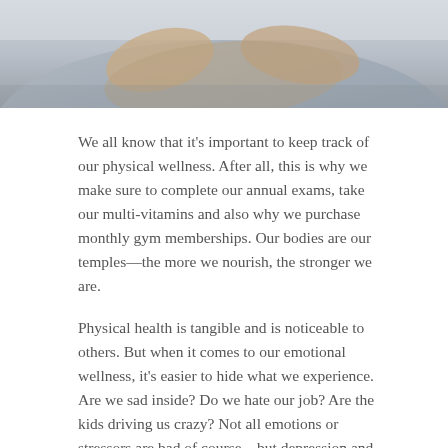[Figure (photo): Partial photo showing a person with arms crossed, wearing a grey shirt, cropped to show torso/arms area only at top of page.]
We all know that it's important to keep track of our physical wellness. After all, this is why we make sure to complete our annual exams, take our multi-vitamins and also why we purchase monthly gym memberships. Our bodies are our temples—the more we nourish, the stronger we are.
Physical health is tangible and is noticeable to others. But when it comes to our emotional wellness, it's easier to hide what we experience. Are we sad inside? Do we hate our job? Are the kids driving us crazy? Not all emotions or stressors are bad of course—but depression and anxiety can really take its toll on health and are often hidden by a busy life. Poor mental health is linked to chronic disease like